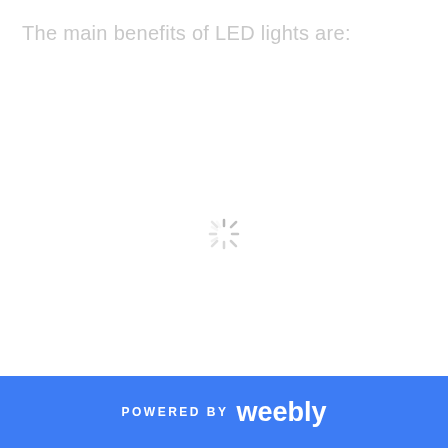The main benefits of LED lights are:
[Figure (other): Loading spinner icon (animated loading indicator) displayed in the center of the page]
POWERED BY weebly